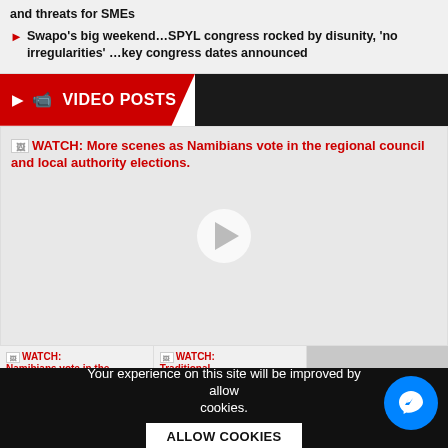and threats for SMEs
Swapo's big weekend…SPYL congress rocked by disunity, 'no irregularities' …key congress dates announced
VIDEO POSTS
[Figure (screenshot): Embedded video player showing Namibians voting in regional council and local authority elections, with play button overlay. Title: WATCH: More scenes as Namibians vote in the regional council and local authority elections.]
[Figure (screenshot): Thumbnail: WATCH: Namibians vote in the...]
[Figure (screenshot): Thumbnail: WATCH: Traditional...]
[Figure (photo): Photo thumbnail showing a person in a room]
Your experience on this site will be improved by allowing cookies.
ALLOW COOKIES